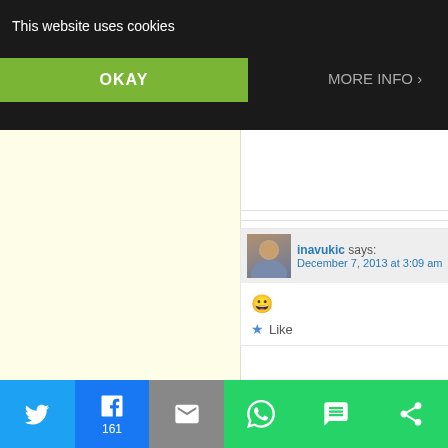This website uses cookies
OKAY
MORE INFO
Okay, friend, Ina.
Like
inavukic says:
December 7, 2013 at 3:09 am
😀
Like
Erwin Lucian Bureriu says:
December 5, 2013 at 7:07 am
Bob Dylan ? BLOWING IN THE WIND...
Twitter | Facebook 161 | Email | WhatsApp | SMS | Other